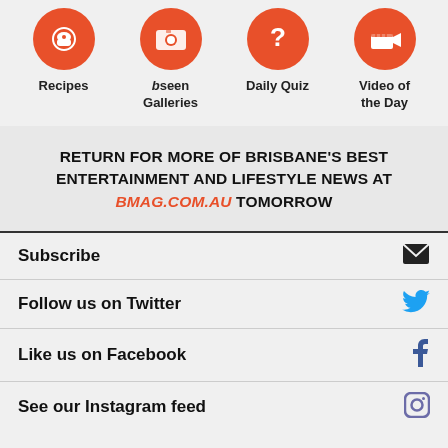[Figure (infographic): Four orange circular icons in a row: Recipes (bowl icon), bseen Galleries (camera icon), Daily Quiz (question mark icon), Video of the Day (clapperboard icon)]
RETURN FOR MORE OF BRISBANE'S BEST ENTERTAINMENT AND LIFESTYLE NEWS AT bmag.com.au TOMORROW
Subscribe
Follow us on Twitter
Like us on Facebook
See our Instagram feed